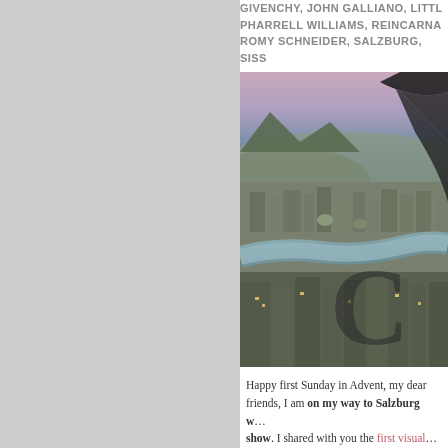GIVENCHY, JOHN GALLIANO, LITTL… PHARRELL WILLIAMS, REINCARNA… ROMY SCHNEIDER, SALZBURG, SISS…
[Figure (photo): Aerial panoramic view of Salzburg city at dusk with river winding through the cityscape, overlaid with a large 'C' watermark letter]
Happy first Sunday in Advent, my dear friends, I am on my way to Salzburg w… show. I shared with you the first visual…